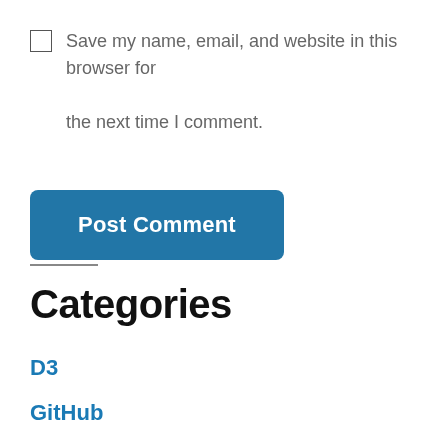Save my name, email, and website in this browser for the next time I comment.
Post Comment
Categories
D3
GitHub